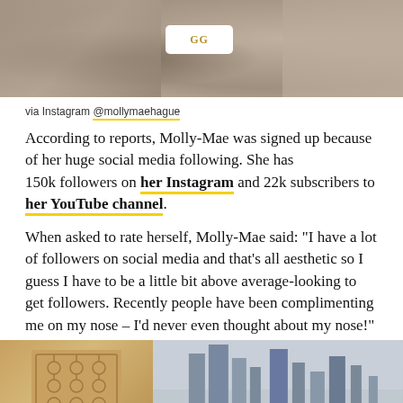[Figure (photo): Top portion of image showing sandal/shoe with white Gucci strap against cushioned background]
via Instagram @mollymaehague
According to reports, Molly-Mae was signed up because of her huge social media following. She has 150k followers on her Instagram and 22k subscribers to her YouTube channel.
When asked to rate herself, Molly-Mae said: "I have a lot of followers on social media and that’s all aesthetic so I guess I have to be a little bit above average-looking to get followers. Recently people have been complimenting me on my nose – I’d never even thought about my nose!"
[Figure (photo): Bottom image showing a decorative lattice panel on the left and Dubai skyline with skyscrapers on the right against grey sky]